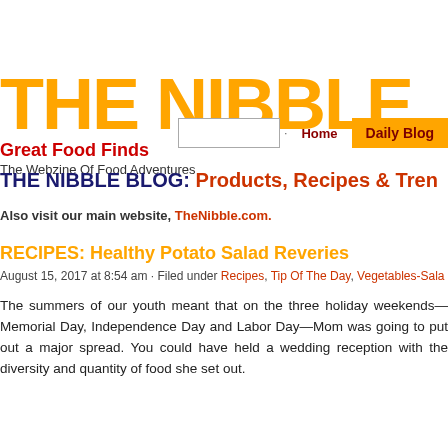THE NIBBLE
Great Food Finds
The Webzine Of Food Adventures
Home | Daily Blog
THE NIBBLE BLOG: Products, Recipes & Trends
Also visit our main website, TheNibble.com.
RECIPES: Healthy Potato Salad Reveries
August 15, 2017 at 8:54 am · Filed under Recipes, Tip Of The Day, Vegetables-Salads
The summers of our youth meant that on the three holiday weekends—Memorial Day, Independence Day and Labor Day—Mom was going to put out a major spread. You could have held a wedding reception with the diversity and quantity of food she set out.